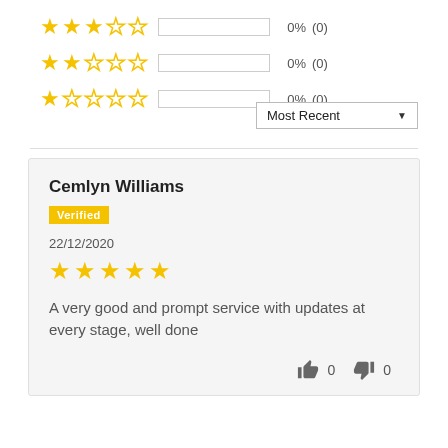[Figure (other): 3-star rating row with bar and 0% (0) count]
[Figure (other): 2-star rating row with bar and 0% (0) count]
[Figure (other): 1-star rating row with bar and 0% (0) count]
Most Recent ▼
Cemlyn Williams
Verified
22/12/2020
[Figure (other): 5-star rating for review]
A very good and prompt service with updates at every stage, well done
👍 0  👎 0